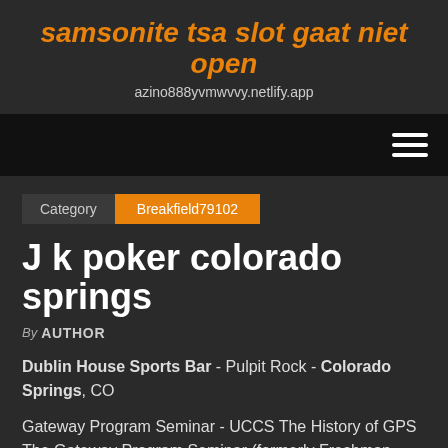samsonite tsa slot gaat niet open
azino888yvmwvvy.netlify.app
Category  Breakfield79102
J k poker colorado springs
By AUTHOR
Dublin House Sports Bar - Pulpit Rock - Colorado Springs, CO
Gateway Program Seminar - UCCS The History of GPS The Gateway Program Seminar (formerly Freshman Seminar)